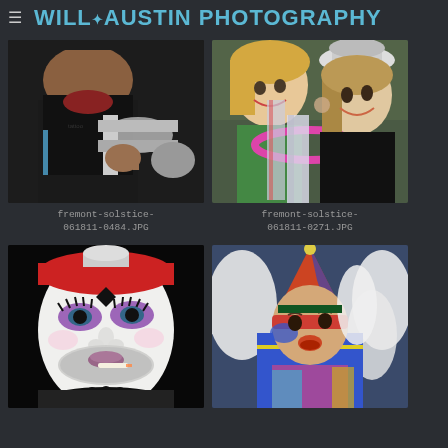≡ WILL✦AUSTIN PHOTOGRAPHY
[Figure (photo): Person playing a brass instrument (tuba/trombone), wearing a sleeveless black top with a red bandana, close-up shot]
fremont-solstice-061811-0484.JPG
[Figure (photo): Two women in festive costumes smiling, one wearing a silver sparkly hat and black outfit, the other in green with a sparkly tube/hoop prop]
fremont-solstice-061811-0271.JPG
[Figure (photo): Close-up portrait of a person in drag makeup: white face paint, purple eye shadow, red headband, black diamond on forehead, beard showing, holding a cigarette]
[Figure (photo): Child in colorful jester/clown costume with blue jacket, orange and blue pointed hat, face paint in red and blue, white feathers in background]